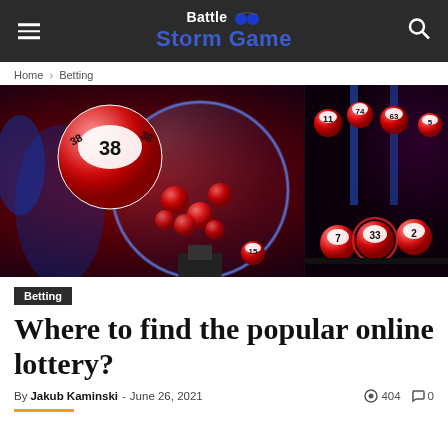Battle Storm Game
Home › Betting
[Figure (photo): Lottery machine with red numbered balls; ball number 38 prominent in foreground; balls lined up in background on right side]
Betting
Where to find the popular online lottery?
By Jakub Kaminski - June 26, 2021   404   0